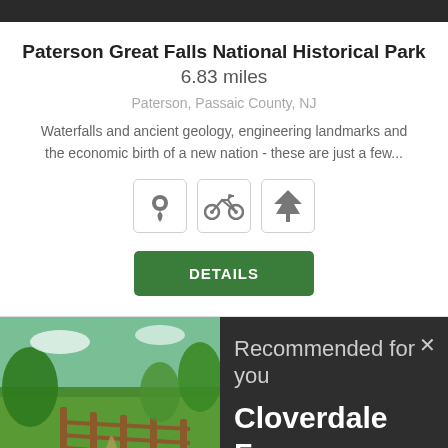Paterson Great Falls National Historical Park 6.83 miles
Paterson, Passaic County, NJ
Waterfalls and ancient geology, engineering landmarks and the economic birth of a new nation - these are just a few...
[Figure (illustration): Three icon boxes: map pin icon, bicycle icon, tree icon]
DETAILS
[Figure (photo): Outdoor nature photo showing a wooden fence along a path with green trees and grass under a blue sky]
Recommended for you
Cloverdale Farm County...
www.getoutsidenj.com
AddThis